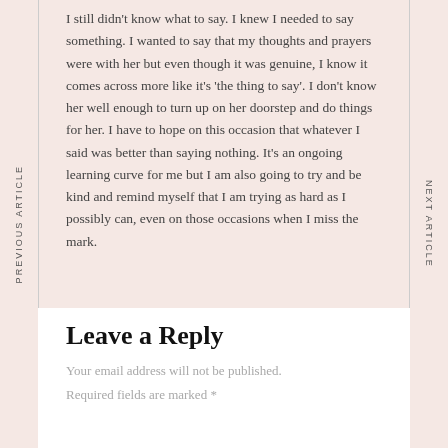I still didn't know what to say. I knew I needed to say something. I wanted to say that my thoughts and prayers were with her but even though it was genuine, I know it comes across more like it's 'the thing to say'. I don't know her well enough to turn up on her doorstep and do things for her. I have to hope on this occasion that whatever I said was better than saying nothing. It's an ongoing learning curve for me but I am also going to try and be kind and remind myself that I am trying as hard as I possibly can, even on those occasions when I miss the mark.
PREVIOUS ARTICLE
NEXT ARTICLE
Leave a Reply
Your email address will not be published.
Required fields are marked *